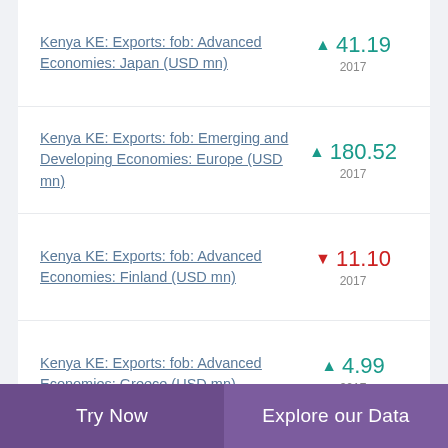Kenya KE: Exports: fob: Advanced Economies: Japan (USD mn)
Kenya KE: Exports: fob: Emerging and Developing Economies: Europe (USD mn)
Kenya KE: Exports: fob: Advanced Economies: Finland (USD mn)
Kenya KE: Exports: fob: Advanced Economies: Greece (USD mn)
Try Now  |  Explore our Data